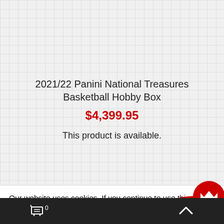2021/22 Panini National Treasures Basketball Hobby Box
$4,399.95
This product is available.
Our website uses cookies. If you continue to use this site we will assume that you are happy with this. More about cookies: www.aboutcookies.org
0  ^